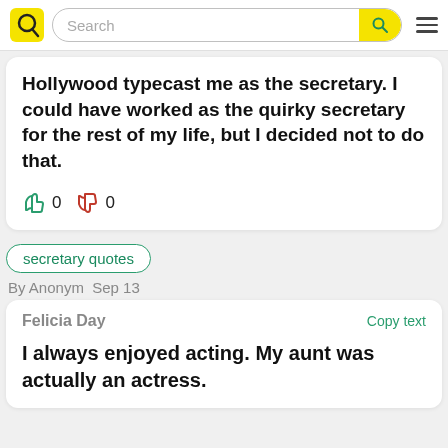Search
Hollywood typecast me as the secretary. I could have worked as the quirky secretary for the rest of my life, but I decided not to do that.
0  0
secretary quotes
By Anonym  Sep 13
Felicia Day  Copy text
I always enjoyed acting. My aunt was actually an actress.